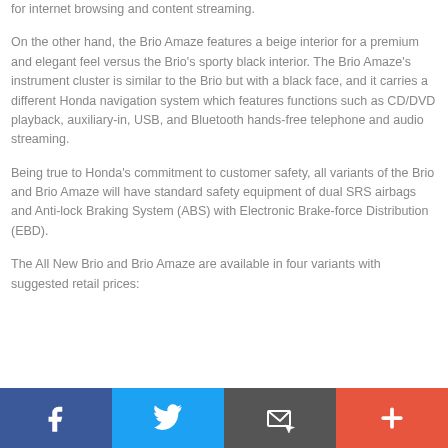for internet browsing and content streaming.
On the other hand, the Brio Amaze features a beige interior for a premium and elegant feel versus the Brio's sporty black interior. The Brio Amaze's instrument cluster is similar to the Brio but with a black face, and it carries a different Honda navigation system which features functions such as CD/DVD playback, auxiliary-in, USB, and Bluetooth hands-free telephone and audio streaming.
Being true to Honda's commitment to customer safety, all variants of the Brio and Brio Amaze will have standard safety equipment of dual SRS airbags and Anti-lock Braking System (ABS) with Electronic Brake-force Distribution (EBD).
The All New Brio and Brio Amaze are available in four variants with suggested retail prices:
[Figure (infographic): Social sharing bar with four buttons: Facebook (blue), Twitter (light blue), Email/share (dark gray), and Plus/add (orange-red)]